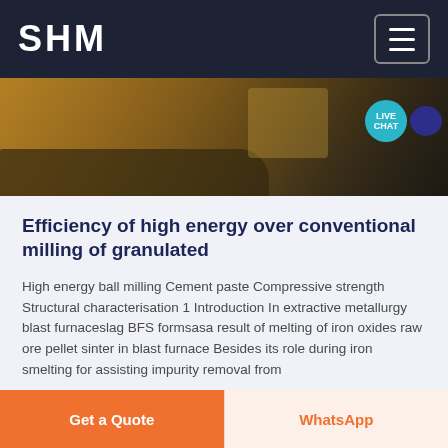SHM
[Figure (photo): Industrial scene showing blast furnace or mining/smelting equipment with warm golden-brown tones]
Efficiency of high energy over conventional milling of granulated
High energy ball milling Cement paste Compressive strength Structural characterisation 1 Introduction In extractive metallurgy blast furnaceslag BFS formsasa result of melting of iron oxides raw ore pellet sinter in blast furnace Besides its role during iron smelting for assisting impurity removal from
Get a Quote   WhatsApp